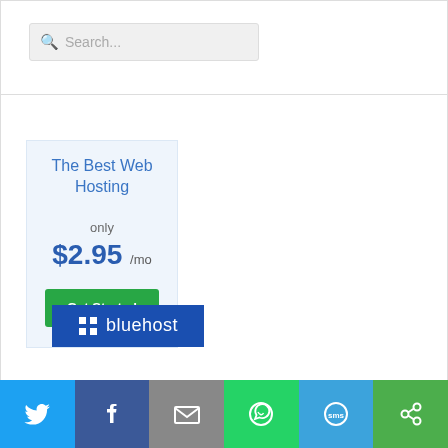[Figure (screenshot): Search bar with magnifying glass icon and placeholder text 'Search...']
The Best Web Hosting
only
$2.95 /mo
Get Started
[Figure (logo): Bluehost logo with grid icon on blue background]
[Figure (infographic): Social sharing bar with Twitter, Facebook, Email, WhatsApp, SMS, and other share icons]